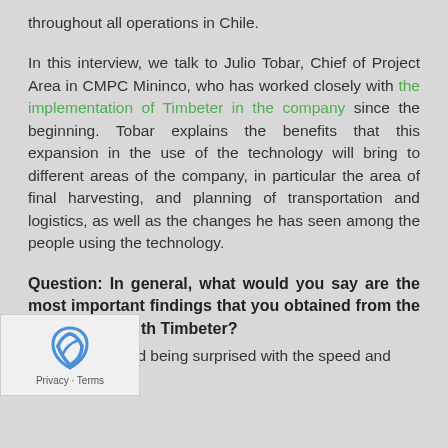throughout all operations in Chile.
In this interview, we talk to Julio Tobar, Chief of Project Area in CMPC Mininco, who has worked closely with the implementation of Timbeter in the company since the beginning. Tobar explains the benefits that this expansion in the use of the technology will bring to different areas of the company, in particular the area of final harvesting, and planning of transportation and logistics, as well as the changes he has seen among the people using the technology.
Question: In general, what would you say are the most important findings that you obtained from the pilot project with Timbeter?
Answer: Beyond being surprised with the speed and